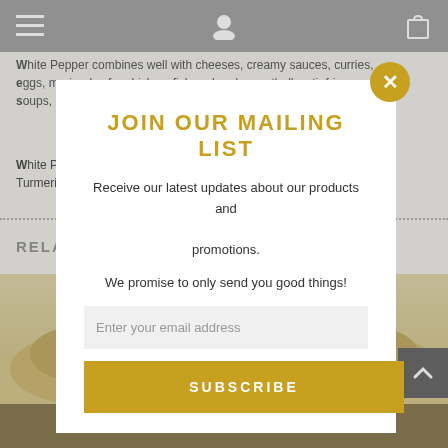Navigation header with menu, user, and cart icons
White Pepper combines well with cheeses, creamy sauces, curries, eggs, marinades for chicken, fish and pork, meatballs, stir fries, soups, pickling, potatoes and vinaigrettes.
White Peppercorn pairs well with Chilies, Cumin, Garlic, Saffron and Turmeric.
RELATED PRODUCTS
[Figure (photo): Mailing list modal popup with close button, title, subscribe form and contact icons]
JOIN OUR MAILING LIST
Receive our latest updates about our products and promotions.
We promise to only send you good things!
Enter your email address
SUBSCRIBE
Do not show again!
SHOW SIDEBAR +